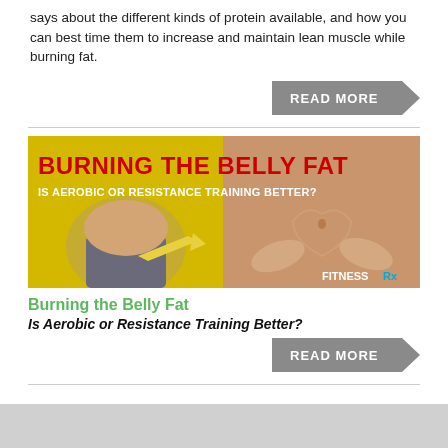says about the different kinds of protein available, and how you can best time them to increase and maintain lean muscle while burning fat.
[Figure (illustration): Gray arrow-shaped READ MORE button]
[Figure (illustration): Fitness banner image: left side shows a fit woman's torso in workout clothes with a yellow arrow, right side shows hands forming a heart over a belly button. Text overlay: BURNING THE BELLY FAT in red, IS AEROBIC OR RESISTANCE TRAINING BETTER? in white, FitnessRx logo bottom right.]
Burning the Belly Fat
Is Aerobic or Resistance Training Better?
[Figure (illustration): Gray arrow-shaped READ MORE button]